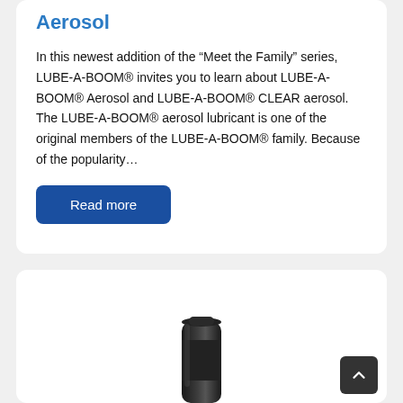Aerosol
In this newest addition of the “Meet the Family” series, LUBE-A-BOOM® invites you to learn about LUBE-A-BOOM® Aerosol and LUBE-A-BOOM® CLEAR aerosol. The LUBE-A-BOOM® aerosol lubricant is one of the original members of the LUBE-A-BOOM® family. Because of the popularity…
Read more
[Figure (photo): Partial view of a black aerosol can product at the bottom of the page]